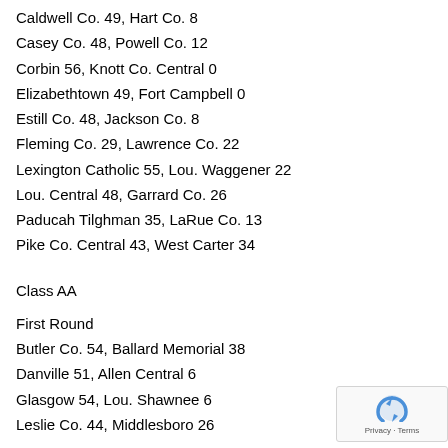Caldwell Co. 49, Hart Co. 8
Casey Co. 48, Powell Co. 12
Corbin 56, Knott Co. Central 0
Elizabethtown 49, Fort Campbell 0
Estill Co. 48, Jackson Co. 8
Fleming Co. 29, Lawrence Co. 22
Lexington Catholic 55, Lou. Waggener 22
Lou. Central 48, Garrard Co. 26
Paducah Tilghman 35, LaRue Co. 13
Pike Co. Central 43, West Carter 34
Class AA
First Round
Butler Co. 54, Ballard Memorial 38
Danville 51, Allen Central 6
Glasgow 54, Lou. Shawnee 6
Leslie Co. 44, Middlesboro 26